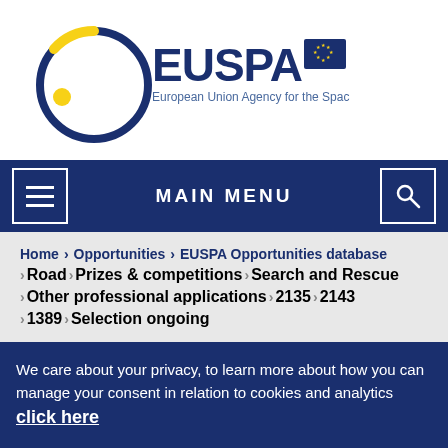[Figure (logo): EUSPA logo — European Union Agency for the Space Programme — circular dark blue ring with yellow crescent accent and yellow dot, 'EUSPA' in large dark blue text, EU flag icon, tagline 'European Union Agency for the Space Programme']
MAIN MENU
Home > Opportunities > EUSPA Opportunities database > Road > Prizes & competitions > Search and Rescue > Other professional applications > 2135 > 2143 > 1389 > Selection ongoing